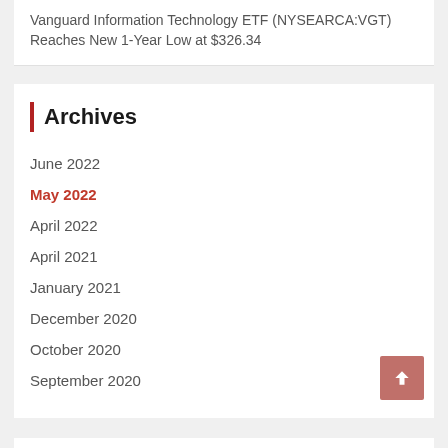Vanguard Information Technology ETF (NYSEARCA:VGT) Reaches New 1-Year Low at $326.34
Archives
June 2022
May 2022
April 2022
April 2021
January 2021
December 2020
October 2020
September 2020
Categories